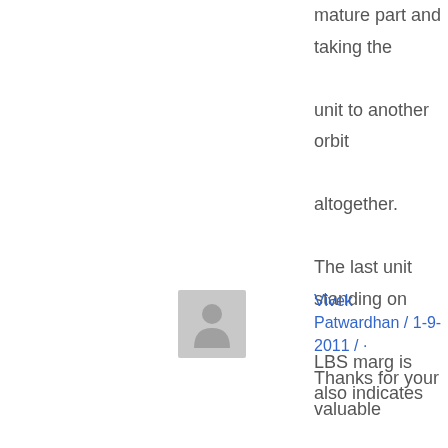mature part and taking the unit to another orbit altogether. The last unit standing on LBS marg is also indicates the same:)
Vivek Patwardhan / 1-9-2011 / ·
Thanks for your valuable comments and insights Sunshine, Salil, Anirudha, Suman, Sai Krishnan and